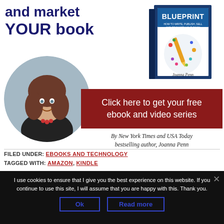and market YOUR book
[Figure (illustration): Book cover titled BLUEPRINT - How to Write, Publish, Sell and Promote Your Book by Joanna Penn, shown as a 3D angled book with a pencil illustration on the cover]
[Figure (photo): Circular portrait photo of Joanna Penn, a woman with long brown hair smiling, wearing a dark jacket and red necklace]
[Figure (infographic): Dark red/crimson banner with white text: Click here to get your free ebook and video series]
By New York Times and USA Today bestselling author, Joanna Penn
FILED UNDER: EBOOKS AND TECHNOLOGY
TAGGED WITH: AMAZON, KINDLE
I use cookies to ensure that I give you the best experience on this website. If you continue to use this site, I will assume that you are happy with this. Thank you.